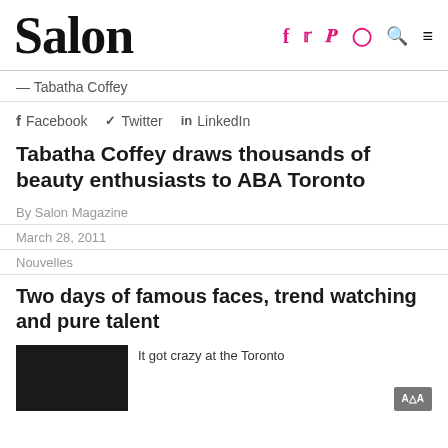Salon
— Tabatha Coffey
f Facebook   Twitter   in LinkedIn
Tabatha Coffey draws thousands of beauty enthusiasts to ABA Toronto
By Salon Magazine
March 28, 2011
Nouvelles
Two days of famous faces, trend watching and pure talent
It got crazy at the Toronto